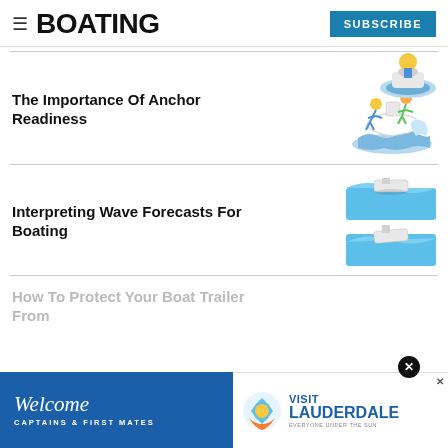BOATING
[Figure (illustration): Partial cropped illustration at top right showing a person in a boat]
The Importance Of Anchor Readiness
[Figure (illustration): Cartoon illustration of people falling off a boat in rough water]
Interpreting Wave Forecasts For Boating
[Figure (illustration): Two blue 3D diagrams showing a boat on wave crests]
How To Protect Your Boat Trailer From
[Figure (illustration): Advertisement banner: Welcome Captains & First Mates / Visit Lauderdale Everyone Under The Sun]